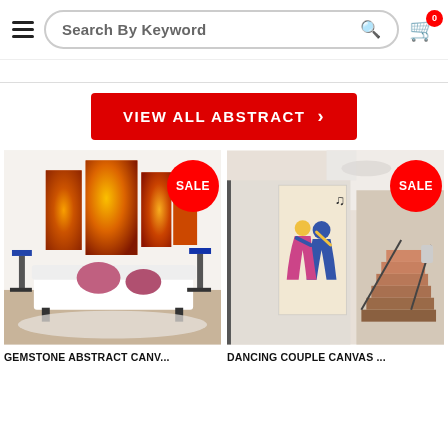Search By Keyword — Navigation header with hamburger menu, search bar, and cart icon (0 items)
VIEW ALL ABSTRACT >
[Figure (photo): Gemstone Abstract canvas art showing fiery orange/red abstract panels displayed above a white sofa in a living room setting. SALE badge in red circle.]
[Figure (photo): Dancing Couple canvas art showing stylized colorful couple dancing, displayed in a modern hallway with stairs. SALE badge in red circle.]
GEMSTONE ABSTRACT CANV...
DANCING COUPLE CANVAS ...